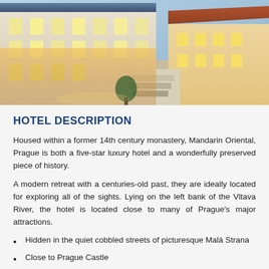[Figure (photo): Aerial/overhead night view of a historic European building complex, likely Mandarin Oriental Prague, showing illuminated cream-colored building facades with rows of windows, red/copper rooftops, a courtyard, and warm golden lighting.]
HOTEL DESCRIPTION
Housed within a former 14th century monastery, Mandarin Oriental, Prague is both a five-star luxury hotel and a wonderfully preserved piece of history.
A modern retreat with a centuries-old past, they are ideally located for exploring all of the sights. Lying on the left bank of the Vltava River, the hotel is located close to many of Prague's major attractions.
Hidden in the quiet cobbled streets of picturesque Malá Strana
Close to Prague Castle